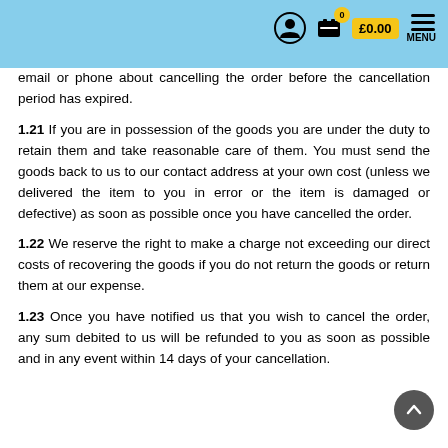£0.00 MENU
email or phone about cancelling the order before the cancellation period has expired.
1.21 If you are in possession of the goods you are under the duty to retain them and take reasonable care of them. You must send the goods back to us to our contact address at your own cost (unless we delivered the item to you in error or the item is damaged or defective) as soon as possible once you have cancelled the order.
1.22 We reserve the right to make a charge not exceeding our direct costs of recovering the goods if you do not return the goods or return them at our expense.
1.23 Once you have notified us that you wish to cancel the order, any sum debited to us will be refunded to you as soon as possible and in any event within 14 days of your cancellation.